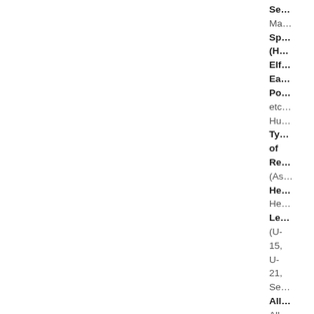| Se… | Ma… | Sp… (H… | Elf… | Ea… | Po… | etc… | Hu… | Ty… of | Re… | (As… | He… | He… | Le… | (U- | 15, | U- | 21, | Se… | All… | All… | Ex… | 10… |
| --- | --- | --- | --- | --- | --- | --- | --- | --- | --- | --- | --- | --- | --- | --- | --- | --- | --- | --- | --- | --- | --- | --- |